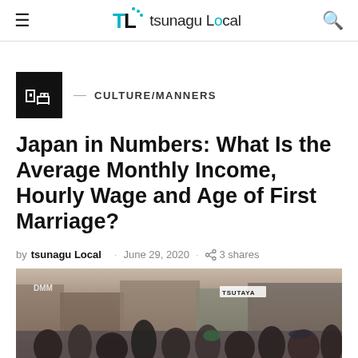tsunagu Local
[Figure (logo): tsunagu Local logo with icon]
CULTURE/MANNERS
Japan in Numbers: What Is the Average Monthly Income, Hourly Wage and Age of First Marriage?
by tsunagu Local · June 29, 2020 · 3 shares
[Figure (photo): Crowded Japanese street crossing with TSUTAYA sign, DMM sign, and many pedestrians]